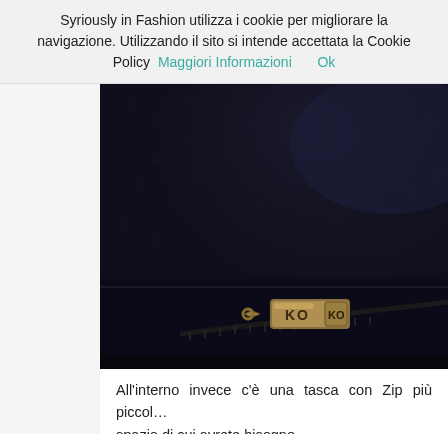Syriously in Fashion utilizza i cookie per migliorare la navigazione. Utilizzando il sito si intende accettata la Cookie Policy  Maggiori Informazioni   Ok
[Figure (photo): Close-up photo of dark navy/black leather bag interior showing textured leather surface and a gold/brass zipper pull with 'KO' branding visible]
All'interno invece c'è una tasca con Zip più piccol... spazio di cui avrete bisogno...